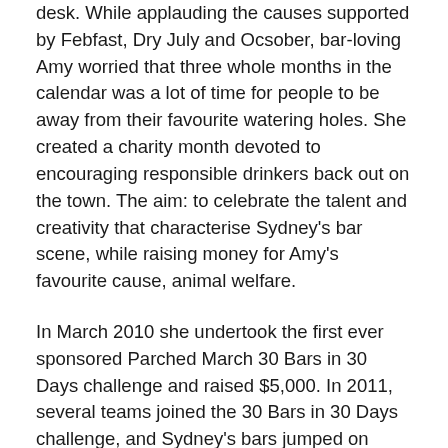desk. While applauding the causes supported by Febfast, Dry July and Ocsober, bar-loving Amy worried that three whole months in the calendar was a lot of time for people to be away from their favourite watering holes. She created a charity month devoted to encouraging responsible drinkers back out on the town. The aim: to celebrate the talent and creativity that characterise Sydney's bar scene, while raising money for Amy's favourite cause, animal welfare.
In March 2010 she undertook the first ever sponsored Parched March 30 Bars in 30 Days challenge and raised $5,000. In 2011, several teams joined the 30 Bars in 30 Days challenge, and Sydney's bars jumped on board with their special fundraising cocktails. Parched March raised $10,000. By 2012 a packed calendar of pet-friendly events and celebrity appearances added more